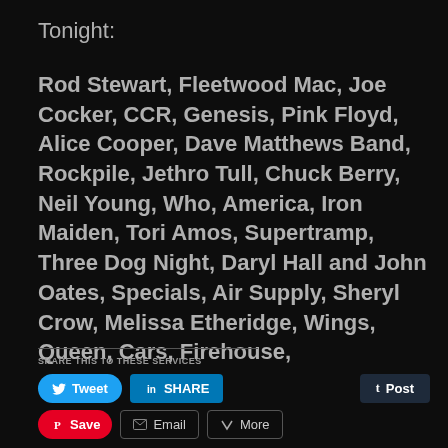Tonight:
Rod Stewart, Fleetwood Mac, Joe Cocker, CCR, Genesis, Pink Floyd, Alice Cooper, Dave Matthews Band, Rockpile, Jethro Tull, Chuck Berry, Neil Young, Who, America, Iron Maiden, Tori Amos, Supertramp, Three Dog Night, Daryl Hall and John Oates, Specials, Air Supply, Sheryl Crow, Melissa Etheridge, Wings, Queen, Cars, Firehouse,
SHARE THIS TO THESE SERVICES
[Figure (infographic): Social share buttons row 1: Tweet (Twitter/blue), SHARE (LinkedIn/blue), Post (Tumblr/dark blue)]
[Figure (infographic): Social share buttons row 2: Save (Pinterest/red), Email (outline), More (outline)]